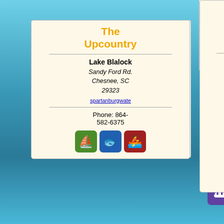State Park
1277 Park Rd.
Blacksburg, SC 29702
southcarolinapark
Phone: 803-222-3209
[Figure (infographic): Activity icons grid: cycling, binoculars, swimming/boating, camping, pets, fishing, geocaching, hiking, kayaking, picnic, running, group/meetings]
The Upcountry
Lake Blalock
Sandy Ford Rd.
Chesnee, SC 29323
spartanburgwate
Phone: 864-582-6375
[Figure (infographic): Activity icons: swimming/boating, fishing, kayaking]
The Upcountry
Lake Bowen
SC Hwy. 9 - Exit 75 - off I-
The Upcountry
Lake Blalock Park
Sandy Ford Rd.
Chesnee, SC